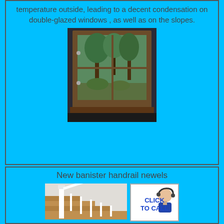temperature outside, leading to a decent condensation on double-glazed windows , as well as on the slopes.
[Figure (photo): Photo of a double-glazed window with brown wooden frame showing trees and greenery outside, with a dark brown sill at the bottom]
New banister handrail newels
[Figure (photo): Photo of wooden staircase with white banister handrail and newel posts]
[Figure (other): CLICK TO CALL button with a person wearing a headset]